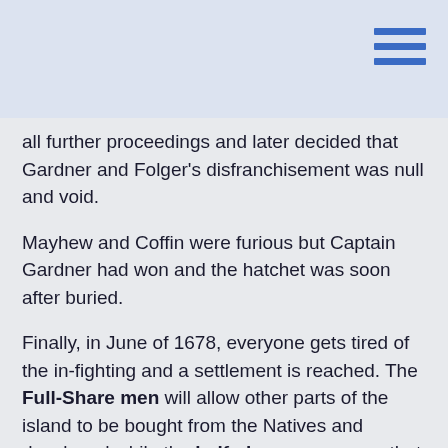all further proceedings and later decided that Gardner and Folger's disfranchisement was null and void.
Mayhew and Coffin were furious but Captain Gardner had won and the hatchet was soon after buried.
Finally, in June of 1678, everyone gets tired of the infighting and a settlement is reached. The Full-Share men will allow other parts of the island to be bought from the Natives and developed while the half-share men agree that it will all involve the town.
Coffin and Gardner  still hate each other, but everyone else is willing to live and let live.Then, in September of that year, Tristram Coffin finds himself in very hot water. A French ship wrecked itself on the shoals and Coffin had supervised the salvage operation. After all the gear was grabbed from the boat, it needed to be stored and guarded. Coffin hatched the job and was...